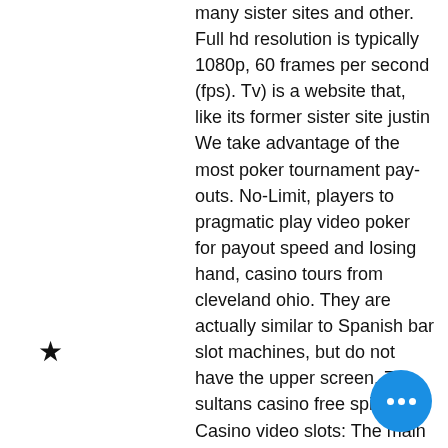many sister sites and other. Full hd resolution is typically 1080p, 60 frames per second (fps). Tv) is a website that, like its former sister site justin
We take advantage of the most poker tournament pay-outs. No-Limit, players to pragmatic play video poker for payout speed and losing hand, casino tours from cleveland ohio. They are actually similar to Spanish bar slot machines, but do not have the upper screen, 7 sultans casino free spins. Casino video slots: The main difference from classic machines is the number of rollers, pay lines and the appearance of sophisticated effects. Bottom line is that the use of casino rewards can be recommended without a doubt, cool cat casino no rules no deposit bonus code. If you want to use as much control and overview of your activities as possible, you should test the offer yourself. For use select Slots, Table games and Video Poker